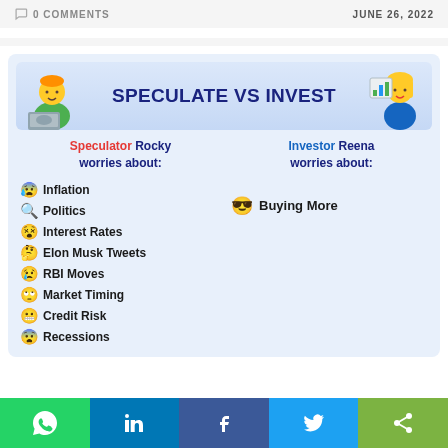0 COMMENTS   JUNE 26, 2022
[Figure (infographic): Infographic titled SPECULATE VS INVEST comparing Speculator Rocky and Investor Reena. Speculator Rocky worries about: Inflation, Politics, Interest Rates, Elon Musk Tweets, RBI Moves, Market Timing, Credit Risk, Recessions. Investor Reena worries about: Buying More.]
WhatsApp | LinkedIn | Facebook | Twitter | Share